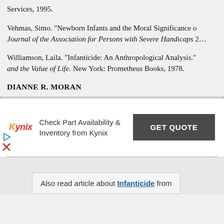Services, 1995.
Vehmas, Simo. "Newborn Infants and the Moral Significance o… Journal of the Association for Persons with Severe Handicaps 2…
Williamson, Laila. "Infanticide: An Anthropological Analysis." … and the Value of Life. New York: Prometheus Books, 1978.
DIANNE R. MORAN
[Figure (other): Kynix advertisement banner: Check Part Availability & Inventory from Kynix, with GET QUOTE button]
Also read article about Infanticide from